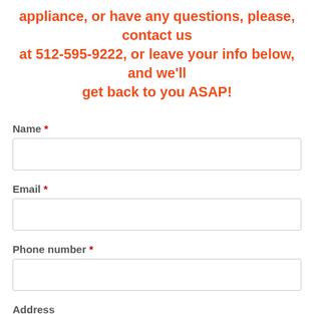appliance, or have any questions, please, contact us at 512-595-9222, or leave your info below, and we'll get back to you ASAP!
Name *
Email *
Phone number *
Address